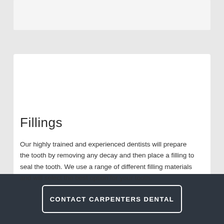Fillings
Our highly trained and experienced dentists will prepare the tooth by removing any decay and then place a filling to seal the tooth. We use a range of different filling materials and will select the best option for your tooth.
CONTACT CARPENTERS DENTAL